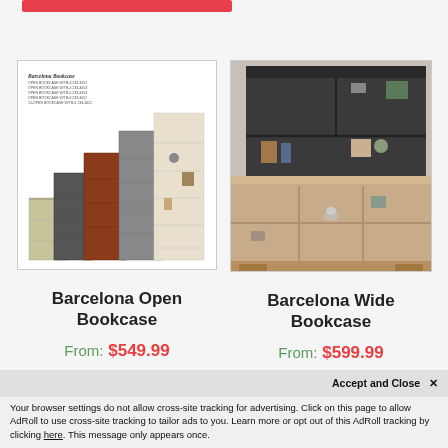[Figure (photo): Red/pink button element at top of page]
[Figure (photo): Product photo of Barcelona Open Bookcase showing multiple bookcase styles in various colors]
Barcelona Open Bookcase
From: $549.99
[Figure (photo): Product photo of Barcelona Wide Bookcase showing a wide low bookcase in front of a tall dark bookcase]
Barcelona Wide Bookcase
From: $599.99
Accept and Close ✕
Your browser settings do not allow cross-site tracking for advertising. Click on this page to allow AdRoll to use cross-site tracking to tailor ads to you. Learn more or opt out of this AdRoll tracking by clicking here. This message only appears once.